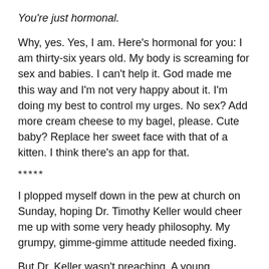You’re just hormonal.
Why, yes. Yes, I am. Here’s hormonal for you: I am thirty-six years old. My body is screaming for sex and babies. I can’t help it. God made me this way and I’m not very happy about it. I’m doing my best to control my urges. No sex? Add more cream cheese to my bagel, please. Cute baby? Replace her sweet face with that of a kitten. I think there’s an app for that.
*****
I plopped myself down in the pew at church on Sunday, hoping Dr. Timothy Keller would cheer me up with some very heady philosophy. My grumpy, gimme-gimme attitude needed fixing.
But Dr. Keller wasn’t preaching. A young Reverend spoke